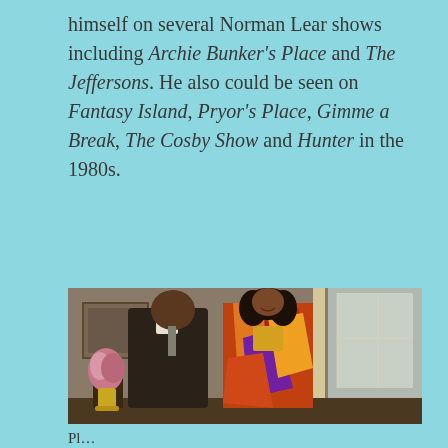himself on several Norman Lear shows including Archie Bunker's Place and The Jeffersons. He also could be seen on Fantasy Island, Pryor's Place, Gimme a Break, The Cosby Show and Hunter in the 1980s.
[Figure (photo): A man in a dark suit and a woman in a colorful patterned dress/shawl standing together in an interior room setting, appearing to be a still from a 1980s television show.]
Pl...